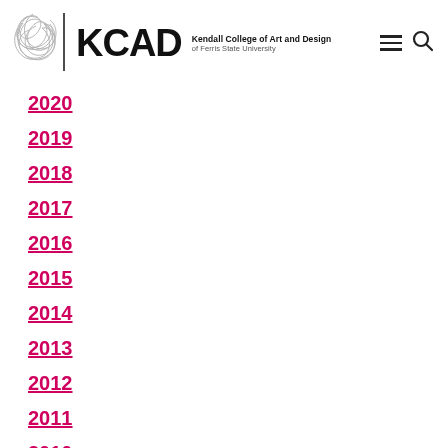KCAD — Kendall College of Art and Design of Ferris State University
2020
2019
2018
2017
2016
2015
2014
2013
2012
2011
2010